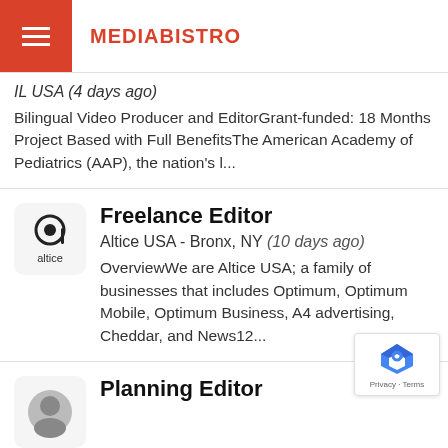MEDIABISTRO
IL USA (4 days ago) Bilingual Video Producer and EditorGrant-funded: 18 Months Project Based with Full BenefitsThe American Academy of Pediatrics (AAP), the nation's l...
Freelance Editor
Altice USA - Bronx, NY (10 days ago)
OverviewWe are Altice USA; a family of businesses that includes Optimum, Optimum Mobile, Optimum Business, A4 advertising, Cheddar, and News12...
Planning Editor